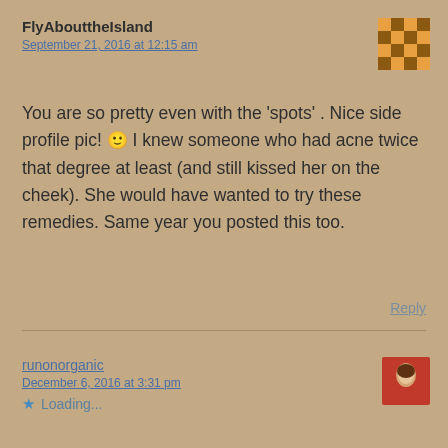FlyAbouttheIsland
September 21, 2016 at 12:15 am
You are so pretty even with the ‘spots’ . Nice side profile pic! 🙂 I knew someone who had acne twice that degree at least (and still kissed her on the cheek). She would have wanted to try these remedies. Same year you posted this too.
★  Loading...
Reply
runonorganic
December 6, 2016 at 3:31 pm